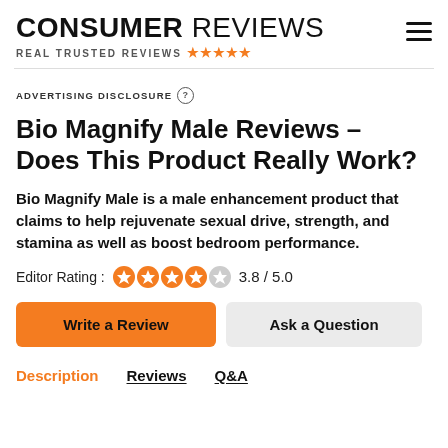CONSUMER REVIEWS — REAL TRUSTED REVIEWS
ADVERTISING DISCLOSURE
Bio Magnify Male Reviews – Does This Product Really Work?
Bio Magnify Male is a male enhancement product that claims to help rejuvenate sexual drive, strength, and stamina as well as boost bedroom performance.
Editor Rating : 3.8 / 5.0
Write a Review | Ask a Question
Description | Reviews | Q&A